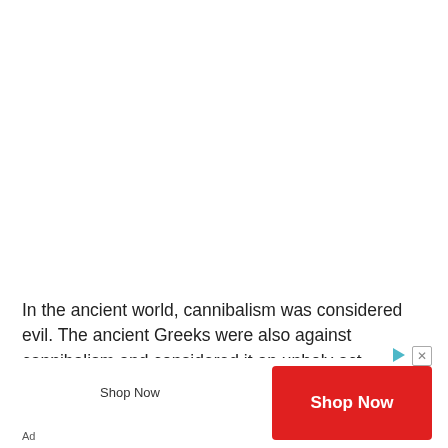In the ancient world, cannibalism was considered evil. The ancient Greeks were also against cannibalism and considered it an unholy act. Nevertheless, the Book of Enoch contains many stories of cannibalistic giants, including the
[Figure (other): Advertisement banner with 'Shop Now' text and a red 'Shop Now' button, along with play and close icons. An 'Ad' label is shown at the bottom left.]